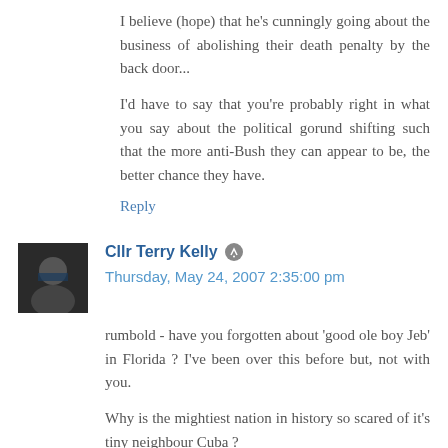I believe (hope) that he's cunningly going about the business of abolishing their death penalty by the back door...
I'd have to say that you're probably right in what you say about the political gorund shifting such that the more anti-Bush they can appear to be, the better chance they have.
Reply
Cllr Terry Kelly  Thursday, May 24, 2007 2:35:00 pm
rumbold - have you forgotten about 'good ole boy Jeb' in Florida ? I've been over this before but, not with you.
Why is the mightiest nation in history so scared of it's tiny neighbour Cuba ?
Reply
Cllr Terry Kelly  Thursday, May 24, 2007 2:57:00 pm